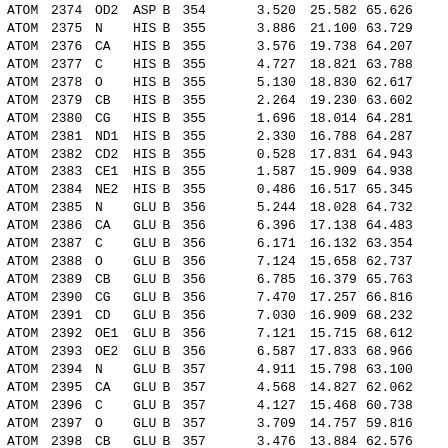| type | serial | name | res | chain | seq |  | x | y | z |
| --- | --- | --- | --- | --- | --- | --- | --- | --- | --- |
| ATOM | 2374 | OD2 | ASP | B | 354 |  | 3.520 | 25.582 | 65.626 |
| ATOM | 2375 | N | HIS | B | 355 |  | 3.886 | 21.100 | 63.729 |
| ATOM | 2376 | CA | HIS | B | 355 |  | 3.576 | 19.738 | 64.207 |
| ATOM | 2377 | C | HIS | B | 355 |  | 4.727 | 18.821 | 63.788 |
| ATOM | 2378 | O | HIS | B | 355 |  | 5.130 | 18.830 | 62.617 |
| ATOM | 2379 | CB | HIS | B | 355 |  | 2.264 | 19.230 | 63.602 |
| ATOM | 2380 | CG | HIS | B | 355 |  | 1.696 | 18.014 | 64.281 |
| ATOM | 2381 | ND1 | HIS | B | 355 |  | 2.330 | 16.788 | 64.287 |
| ATOM | 2382 | CD2 | HIS | B | 355 |  | 0.528 | 17.831 | 64.943 |
| ATOM | 2383 | CE1 | HIS | B | 355 |  | 1.587 | 15.909 | 64.938 |
| ATOM | 2384 | NE2 | HIS | B | 355 |  | 0.486 | 16.517 | 65.345 |
| ATOM | 2385 | N | GLU | B | 356 |  | 5.244 | 18.028 | 64.732 |
| ATOM | 2386 | CA | GLU | B | 356 |  | 6.396 | 17.138 | 64.483 |
| ATOM | 2387 | C | GLU | B | 356 |  | 6.171 | 16.132 | 63.354 |
| ATOM | 2388 | O | GLU | B | 356 |  | 7.124 | 15.658 | 62.737 |
| ATOM | 2389 | CB | GLU | B | 356 |  | 6.785 | 16.379 | 65.763 |
| ATOM | 2390 | CG | GLU | B | 356 |  | 7.470 | 17.257 | 66.816 |
| ATOM | 2391 | CD | GLU | B | 356 |  | 7.030 | 16.909 | 68.232 |
| ATOM | 2392 | OE1 | GLU | B | 356 |  | 7.121 | 15.715 | 68.612 |
| ATOM | 2393 | OE2 | GLU | B | 356 |  | 6.587 | 17.833 | 68.966 |
| ATOM | 2394 | N | GLU | B | 357 |  | 4.911 | 15.798 | 63.100 |
| ATOM | 2395 | CA | GLU | B | 357 |  | 4.568 | 14.827 | 62.062 |
| ATOM | 2396 | C | GLU | B | 357 |  | 4.127 | 15.468 | 60.738 |
| ATOM | 2397 | O | GLU | B | 357 |  | 3.709 | 14.757 | 59.816 |
| ATOM | 2398 | CB | GLU | B | 357 |  | 3.476 | 13.884 | 62.576 |
| ATOM | 2399 | CG | GLU | B | 357 |  | 3.964 | 12.912 | 63.647 |
| ATOM | 2400 | CD | GLU | B | 357 |  | 4.131 | 11.503 | 63.116 |
| ATOM | 2401 | OE1 | GLU | B | 357 |  | 3.186 | 10.701 | 63.294 |
| ATOM | 2402 | OE2 | GLU | B | 357 |  | 5.190 | 11.205 | 62.513 |
| ATOM | 2403 | N | HIS | B | 358 |  | 4.202 | 16.796 | 60.637 |